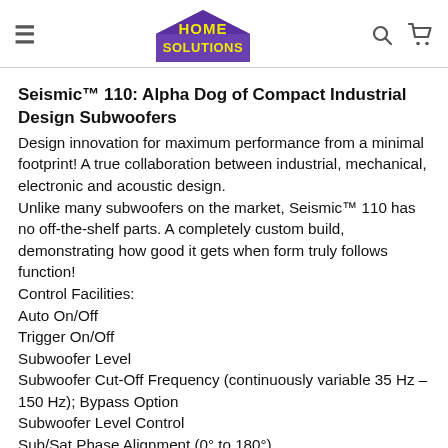Home Solutions (logo header with hamburger menu, search icon, cart icon)
Seismic™ 110: Alpha Dog of Compact Industrial Design Subwoofers
Design innovation for maximum performance from a minimal footprint! A true collaboration between industrial, mechanical, electronic and acoustic design.
Unlike many subwoofers on the market, Seismic™ 110 has no off-the-shelf parts. A completely custom build, demonstrating how good it gets when form truly follows function!
Control Facilities:
Auto On/Off
Trigger On/Off
Subwoofer Level
Subwoofer Cut-Off Frequency (continuously variable 35 Hz – 150 Hz); Bypass Option
Subwoofer Level Control
Sub/Sat Phase Alignment (0° to 180°)